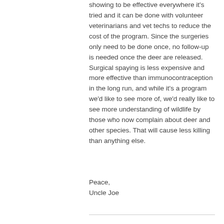showing to be effective everywhere it's tried and it can be done with volunteer veterinarians and vet techs to reduce the cost of the program. Since the surgeries only need to be done once, no follow-up is needed once the deer are released. Surgical spaying is less expensive and more effective than immunocontraception in the long run, and while it's a program we'd like to see more of, we'd really like to see more understanding of wildlife by those who now complain about deer and other species. That will cause less killing than anything else.
Peace,
Uncle Joe